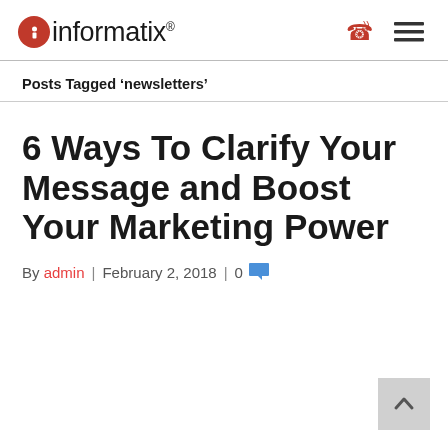informatix® — site logo with phone and menu icons
Posts Tagged ‘newsletters’
6 Ways To Clarify Your Message and Boost Your Marketing Power
By admin | February 2, 2018 | 0